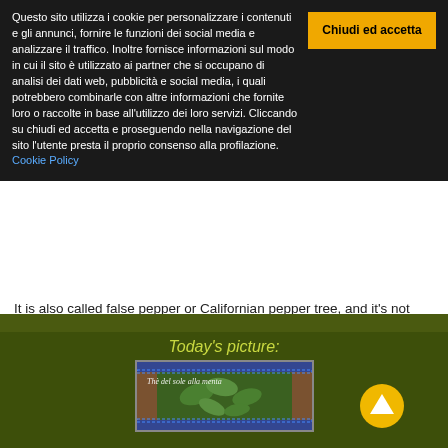Questo sito utilizza i cookie per personalizzare i contenuti e gli annunci, fornire le funzioni dei social media e analizzare il traffico. Inoltre fornisce informazioni sul modo in cui il sito è utilizzato ai partner che si occupano di analisi dei dati web, pubblicità e social media, i quali potrebbero combinarle con altre informazioni che fornite loro o raccolte in base all'utilizzo dei loro servizi. Cliccando su chiudi ed accetta e proseguendo nella navigazione del sito l'utente presta il proprio consenso alla profilazione. Cookie Policy
It is also called false pepper or Californian pepper tree, and it's not related with the black pepper...
(Ita) Ricetta: Burritos di pollo al coriandolo e cumino
...
Today's picture:
[Figure (photo): Photo of green mint plant with Italian text overlay 'The del sole alla menta']